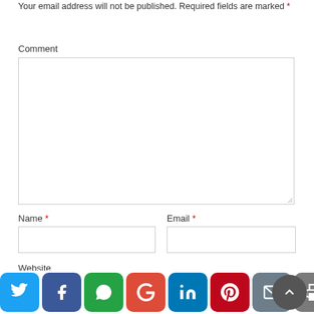Your email address will not be published. Required fields are marked *
Comment
Name *
Email *
Website